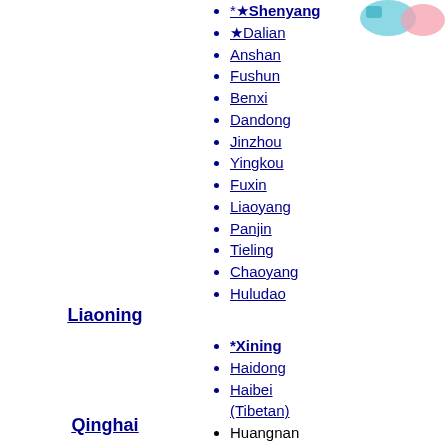[Figure (illustration): Partial map illustration with teal and pink colored regions, top right corner]
Liaoning
*★Shenyang
★Dalian
Anshan
Fushun
Benxi
Dandong
Jinzhou
Yingkou
Fuxin
Liaoyang
Panjin
Tieling
Chaoyang
Huludao
Qinghai
*Xining
Haidong
Haibei (Tibetan)
Huangnan (Tibetan)
Hainan (Tibetan)
Golog